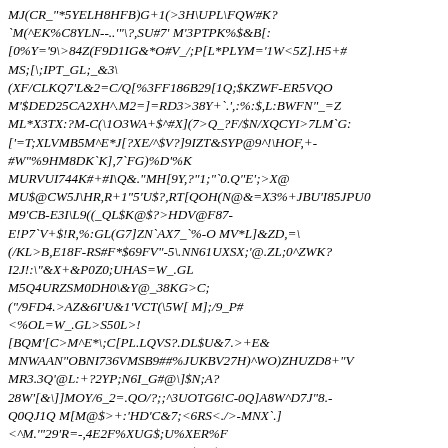MJ(CR_"*5YELH8HFB)G+1(>3H\UPL\FQW#K?
`M(^EK%C8YLN--..'"\?,SU#7' M'3PTPK%$&B[:
[0%Y='9\>84Z(F9D1IG&*O#V_/;P[L*PLYM='1W<5Z].H5+#
MS;[\;IPT_GL;_&3\
(XF/CLKQ7'L&2=C/Q[%3FF186B29[1Q;$KZWF-ER5VQO
M'$DED25CA2XH^.M2=]=RD3>38Y+`.',:%:$,L:BWFN"_=Z
ML*X3TX:?M-C(\1O3WA+$^#X](7>Q_?F/$N/XQCYI>7LM`G:
['=T;XLVMB5M^E*J[?XE/^$V?]9IZT&SYP@9^!\HOF,+-
#W"%9HM8DK`K],7`FG)%D'%K
MURVUI744K#+#I\Q&."MH[9Y,?"1;"`0.Q"E';>X@
MU$@CW5J\HR,R+1"5'U$?,RT[QOH(N@&=X3%+JBU'I85JPU0
M9'CB-E3I\L9((_QL$K@$?>HDV@F87-
E!P7`V+$!R,%:GL(G7]ZN`AX7_`%-O MV*L]&ZD,=\
(/KL>B,E18F-RS#F*$69FV"-5\.NN61UXSX;'@.ZL;0^ZWK?
I2J!:\"&X+&P0Z0;UHAS=W_.GL
M5Q4URZSM0DH0\&Y@_38KG>C;
(/"/9FD4.>AZ&6I'U&1'VCT(\5W[ M];/9_P#
<%OL=W_.GL>S50L>!
[BQM'[C>M^E*\;C[PL.LQVS?.DL$U&7.>+E&
MNWAAN"OBNI736VMSB9##%JUKBV27H)^WO)ZHUZD8+"V
MR3.3Q'@L:+?2YP;N6I_G#@\]$N;A?
28W'[&\]]MOY/6_2=.QO/?;;^3UOTG6!C-0Q]A8W^D7J"8.-
Q0QJ1Q M[M@$>+:'HD'C&7;<6RS<./>-MNX`.]
<^M.'"29'R=-,4E2F%XUG$;U%XER%F
M&&P#3:\/ N0,X:=4&/Y/'&,^ZEF)X7(VTQR472@J+R"2-